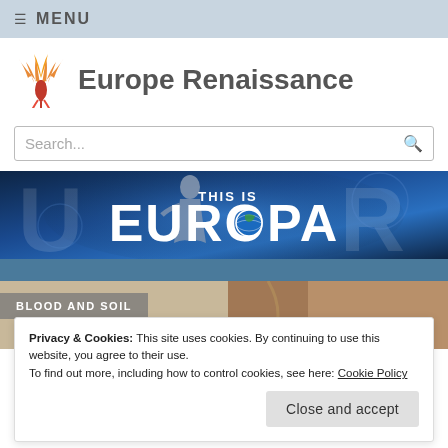☰ MENU
Europe Renaissance
[Figure (illustration): Orange/red phoenix bird logo]
Search...
[Figure (illustration): This Is Europa banner with classical statue and globe]
BLOOD AND SOIL
Privacy & Cookies: This site uses cookies. By continuing to use this website, you agree to their use.
To find out more, including how to control cookies, see here: Cookie Policy
Close and accept